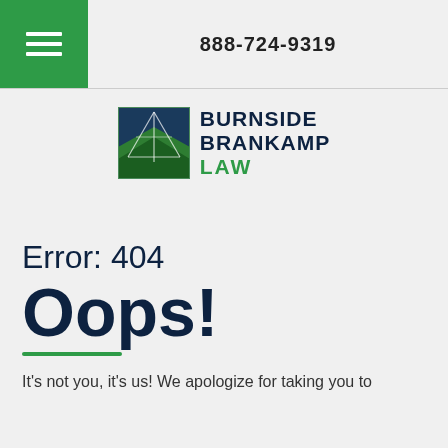888-724-9319
[Figure (logo): Burnside Brankamp Law logo with bridge/landscape icon and company name]
Error: 404
Oops!
It's not you, it's us! We apologize for taking you to